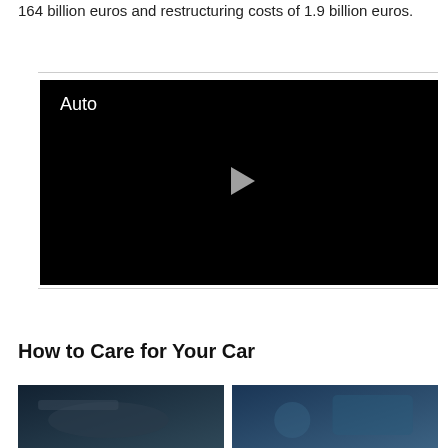164 billion euros and restructuring costs of 1.9 billion euros.
[Figure (screenshot): Black video player with 'Auto' label in top-left and a white play button triangle in the center]
How to Care for Your Car
[Figure (photo): Two thumbnail images at the bottom of the page, both dark blue/teal toned automotive photos]